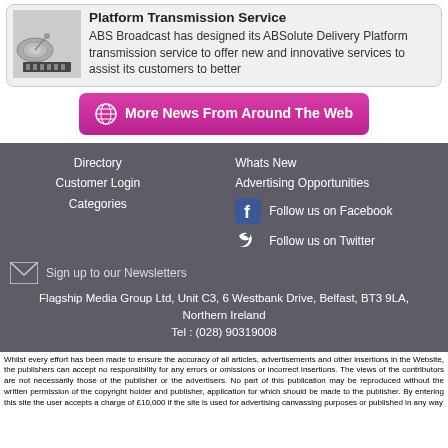[Figure (illustration): Thumbnail image of satellite/broadcast dish and film strip]
Platform Transmission Service
ABS Broadcast has designed its ABSolute Delivery Platform transmission service to offer new and innovative services to assist its customers to better
More News From Around The Web
Directory
Customer Login
Categories
Whats New
Advertising Opportunities
Follow us on Facebook
Follow us on Twitter
Sign up to our Newsletters
Flagship Media Group Ltd, Unit C3, 6 Westbank Drive, Belfast, BT3 9LA, Northern Ireland
Tel : (028) 90319008
Whilst every effort has been made to ensure the accuracy of all articles, advertisements and other insertions in the Website, the publishers can accept no responsibility for any errors or omissions or incorrect insertions. The views of the contributors are not necessarily those of the publisher or the advertisers. No part of this publication may be reproduced without the written permission of the copyright holder and publisher, application for which should be made to the publisher. By entering this site the user accepts a charge of £10,000 if the site is used for advertising canvassing purposes or published in any way